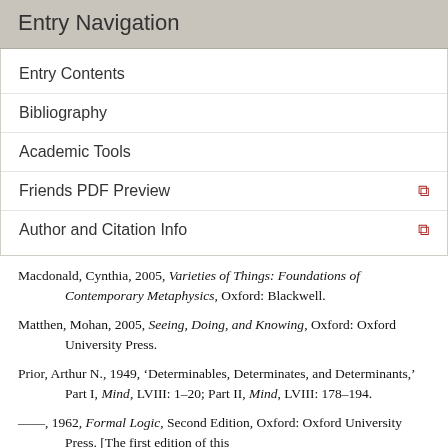Entry Navigation
Entry Contents
Bibliography
Academic Tools
Friends PDF Preview
Author and Citation Info
Macdonald, Cynthia, 2005, Varieties of Things: Foundations of Contemporary Metaphysics, Oxford: Blackwell.
Matthen, Mohan, 2005, Seeing, Doing, and Knowing, Oxford: Oxford University Press.
Prior, Arthur N., 1949, ‘Determinables, Determinates, and Determinants,’ Part I, Mind, LVIII: 1–20; Part II, Mind, LVIII: 178–194.
——, 1962, Formal Logic, Second Edition, Oxford: Oxford University Press. [The first edition of this